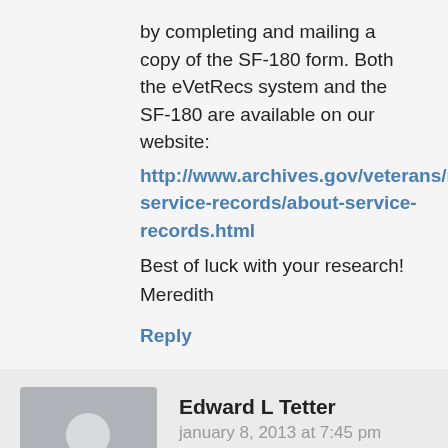by completing and mailing a copy of the SF-180 form. Both the eVetRecs system and the SF-180 are available on our website:
http://www.archives.gov/veterans/military-service-records/about-service-records.html
Best of luck with your research!
Meredith
Reply
Edward L Tetter
january 8, 2013 at 7:45 pm
I have a lot of relatives who were in the military in the past ww2. Ww1 civilwar and spanish American wars. I'm just trying to find